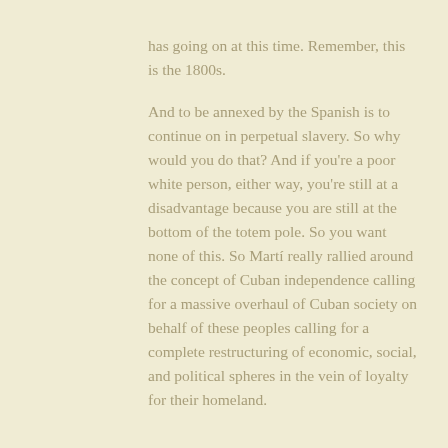has going on at this time. Remember, this is the 1800s.

And to be annexed by the Spanish is to continue on in perpetual slavery. So why would you do that? And if you're a poor white person, either way, you're still at a disadvantage because you are still at the bottom of the totem pole. So you want none of this. So Martí really rallied around the concept of Cuban independence calling for a massive overhaul of Cuban society on behalf of these peoples calling for a complete restructuring of economic, social, and political spheres in the vein of loyalty for their homeland.